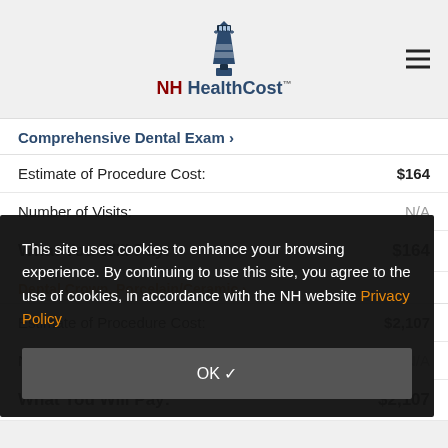NH HealthCost
Comprehensive Dental Exam >
| Label | Value |
| --- | --- |
| Estimate of Procedure Cost: | $164 |
| Number of Visits: | N/A |
| What You Will Pay: | $164 |
Dental Crown, Porcelain/Ceramic >
| Label | Value |
| --- | --- |
| Estimate of Procedure Cost: | $2,107 |
| Number of Visits: | N/A |
| What You Will Pay: | $2,107 |
This site uses cookies to enhance your browsing experience. By continuing to use this site, you agree to the use of cookies, in accordance with the NH website Privacy Policy
OK ✓